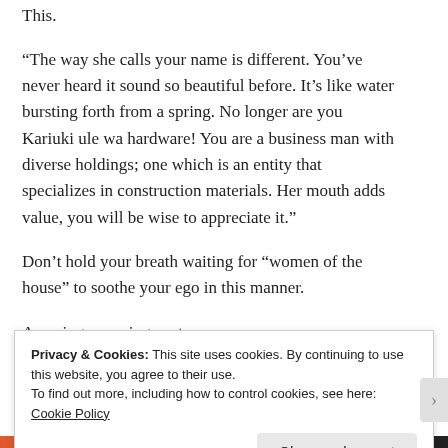This.
“The way she calls your name is different. You’ve never heard it sound so beautiful before. It’s like water bursting forth from a spring. No longer are you Kariuki ule wa hardware! You are a business man with diverse holdings; one which is an entity that specializes in construction materials. Her mouth adds value, you will be wise to appreciate it.”
Don’t hold your breath waiting for “women of the house” to soothe your ego in this manner.
Amazing, amazing post.
★ Liked by 1 person
Privacy & Cookies: This site uses cookies. By continuing to use this website, you agree to their use. To find out more, including how to control cookies, see here: Cookie Policy